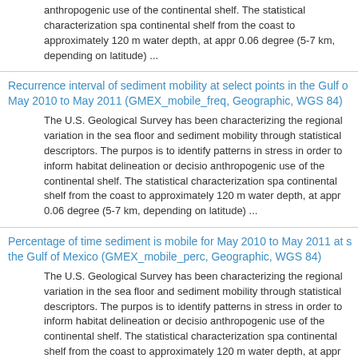anthropogenic use of the continental shelf. The statistical characterization spa continental shelf from the coast to approximately 120 m water depth, at appr 0.06 degree (5-7 km, depending on latitude) ...
Recurrence interval of sediment mobility at select points in the Gulf of May 2010 to May 2011 (GMEX_mobile_freq, Geographic, WGS 84)
The U.S. Geological Survey has been characterizing the regional variation in the sea floor and sediment mobility through statistical descriptors. The purpos is to identify patterns in stress in order to inform habitat delineation or decisio anthropogenic use of the continental shelf. The statistical characterization spa continental shelf from the coast to approximately 120 m water depth, at appr 0.06 degree (5-7 km, depending on latitude) ...
Percentage of time sediment is mobile for May 2010 to May 2011 at s the Gulf of Mexico (GMEX_mobile_perc, Geographic, WGS 84)
The U.S. Geological Survey has been characterizing the regional variation in the sea floor and sediment mobility through statistical descriptors. The purpos is to identify patterns in stress in order to inform habitat delineation or decisio anthropogenic use of the continental shelf. The statistical characterization spa continental shelf from the coast to approximately 120 m water depth, at appr 0.06 degree (5-7 km, depending on latitude) ...
95th percentile of wave-current bottom shear stress in the Middle Atla May, 2010 - May, 2011 (MAB_95th_perc.SHP)
The U.S. Geological Survey has been characterizing the regional variation in